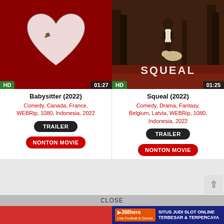[Figure (screenshot): Movie card for Babysitter (2022) with red background and heart shape thumbnail, HD badge, duration 01:27]
Babysitter (2022)
Comedy, Canada, France, WEBRip, 1080, Indonesia, 2022
TRAILER
NONTON MOVIE
[Figure (screenshot): Movie card for Squeal (2022) with dark forest background, HD badge, duration 01:25]
Squeal (2022)
Comedy, Drama, Fantasy, Belgium, Latvia, WEBRip, 1080, Indonesia, 2022
TRAILER
NONTON MOVIE
CLOSE
[Figure (infographic): Advertisement banner: 388hero - SITUS JUDI SLOT ONLINE TERBESAR & TERPERCAYA]